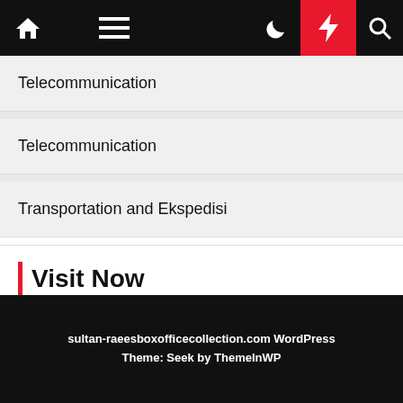Navigation bar with home, menu, moon, bolt, and search icons
Telecommunication
Telecommunication
Transportation and Ekspedisi
Visit Now
Sport
sultan-raeesboxofficecollection.com WordPress Theme: Seek by ThemeInWP